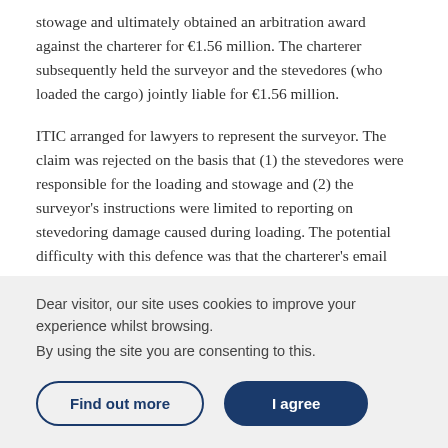stowage and ultimately obtained an arbitration award against the charterer for €1.56 million. The charterer subsequently held the surveyor and the stevedores (who loaded the cargo) jointly liable for €1.56 million.
ITIC arranged for lawyers to represent the surveyor. The claim was rejected on the basis that (1) the stevedores were responsible for the loading and stowage and (2) the surveyor's instructions were limited to reporting on stevedoring damage caused during loading. The potential difficulty with this defence was that the charterer's email
Dear visitor, our site uses cookies to improve your experience whilst browsing.
By using the site you are consenting to this.